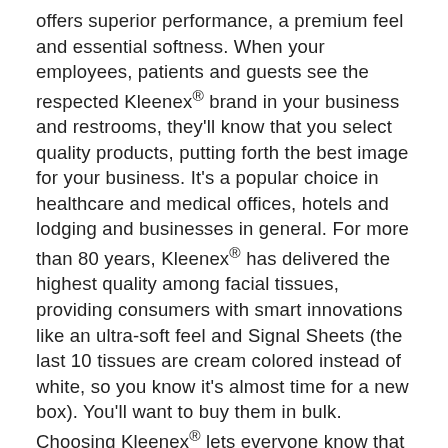offers superior performance, a premium feel and essential softness. When your employees, patients and guests see the respected Kleenex® brand in your business and restrooms, they'll know that you select quality products, putting forth the best image for your business. It's a popular choice in healthcare and medical offices, hotels and lodging and businesses in general. For more than 80 years, Kleenex® has delivered the highest quality among facial tissues, providing consumers with smart innovations like an ultra-soft feel and Signal Sheets (the last 10 tissues are cream colored instead of white, so you know it's almost time for a new box). You'll want to buy them in bulk. Choosing Kleenex® lets everyone know that you care enough to provide the very best. Put the premium performance and the positive touch of the Kleenex® brand within reach in your restroom and throughout your workplace. As we look towards the future, Kimberly-Clark Professional is committed to providing a wide collection of essential products and services that help make your workplace exceptional. Our dedication to innovation has helped businesses